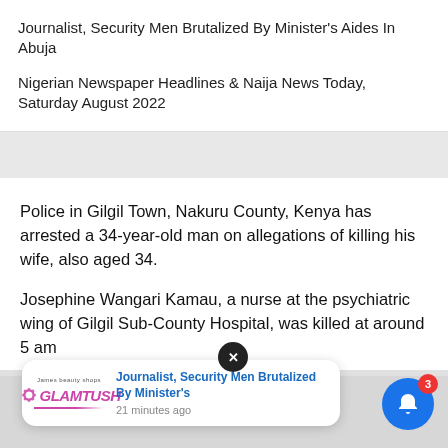Journalist, Security Men Brutalized By Minister's Aides In Abuja
Nigerian Newspaper Headlines & Naija News Today, Saturday August 2022
Police in Gilgil Town, Nakuru County, Kenya has arrested a 34-year-old man on allegations of killing his wife, also aged 34.
Josephine Wangari Kamau, a nurse at the psychiatric wing of Gilgil Sub-County Hospital, was killed at around 5 am
[Figure (screenshot): GLAMTUSH notification popup showing 'Journalist, Security Men Brutalized By Minister's' with timestamp '21 minutes ago', with a dark X close button and a blue bell notification icon with badge showing 3]